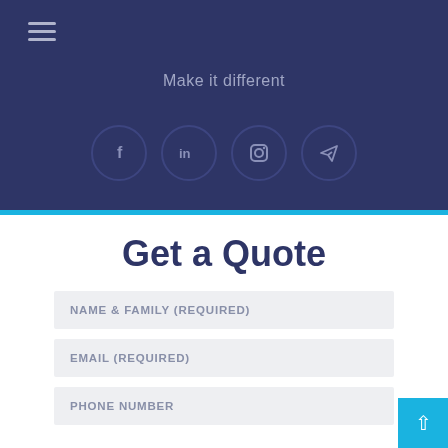☰ (hamburger menu icon)
Make it different
[Figure (other): Four social media icons in dark navy circles: Facebook (f), LinkedIn (in), Instagram (camera), Telegram (paper plane)]
Get a Quote
NAME & FAMILY (REQUIRED)
EMAIL (REQUIRED)
PHONE NUMBER